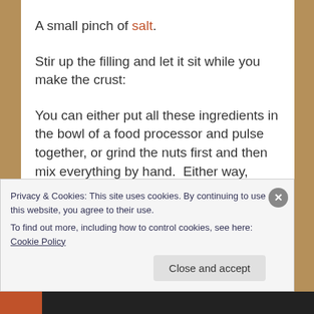A small pinch of salt.
Stir up the filling and let it sit while you make the crust:
You can either put all these ingredients in the bowl of a food processor and pulse together, or grind the nuts first and then mix everything by hand.  Either way, don’t chop the nuts super fine, or the crust won’t have a lot of structure, a texture like coarse crumbs is good.
Privacy & Cookies: This site uses cookies. By continuing to use this website, you agree to their use.
To find out more, including how to control cookies, see here: Cookie Policy